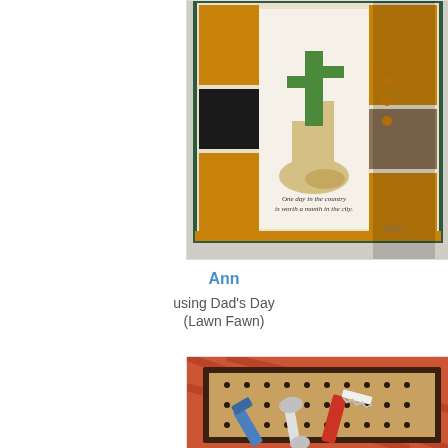[Figure (photo): Close-up photo of a handmade greeting card featuring a cactus in cowboy boots on patterned paper with text reading 'One day in the country is worth a month in the city']
Ann
using Dad's Day
(Lawn Fawn)
[Figure (photo): Partial photo of a handmade Father's Day card featuring tools (saw, wrench, hammer) on a pegboard background with plaid border paper]